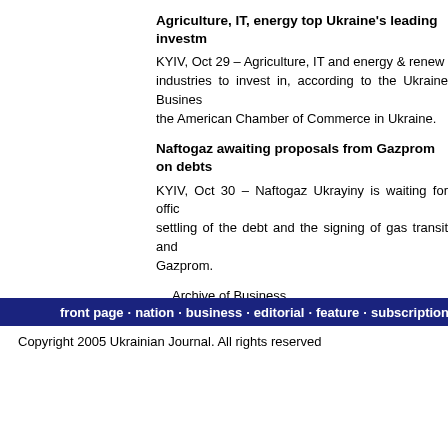Agriculture, IT, energy top Ukraine's leading invest...
KYIV, Oct 29 – Agriculture, IT and energy & renew... industries to invest in, according to the Ukraine Business... the American Chamber of Commerce in Ukraine.
Naftogaz awaiting proposals from Gazprom on debts...
KYIV, Oct 30 – Naftogaz Ukrayiny is waiting for offic... settling of the debt and the signing of gas transit and... Gazprom.
Archive of Business
front page · nation · business · editorial · feature · subscription · ad...
Copyright 2005 Ukrainian Journal. All rights reserved